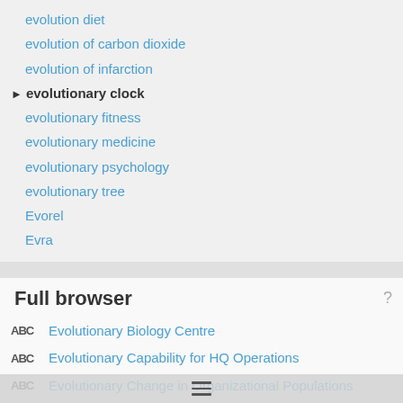evolution diet
evolution of carbon dioxide
evolution of infarction
evolutionary clock
evolutionary fitness
evolutionary medicine
evolutionary psychology
evolutionary tree
Evorel
Evra
Full browser
Evolutionary Biology Centre
Evolutionary Capability for HQ Operations
Evolutionary Change in Organizational Populations
evolutionary clock
Evolutionary Cognitive Neuroscience Laboratory